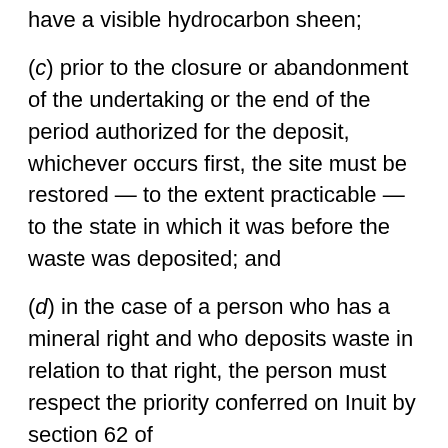have a visible hydrocarbon sheen;
(c) prior to the closure or abandonment of the undertaking or the end of the period authorized for the deposit, whichever occurs first, the site must be restored — to the extent practicable — to the state in which it was before the waste was deposited; and
(d) in the case of a person who has a mineral right and who deposits waste in relation to that right, the person must respect the priority conferred on Inuit by section 62 of